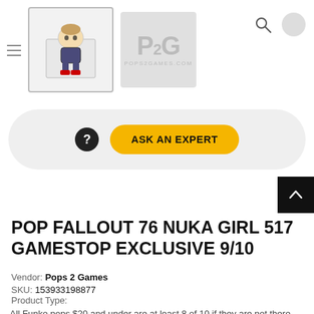[Figure (screenshot): Product thumbnail image showing a Funko Pop figure (Fallout 76 Nuka Girl 517) in box, selected thumbnail with border]
[Figure (logo): Pops 2 Games (P2G) logo on gray background, secondary thumbnail]
[Figure (other): Ask an Expert button bar with question mark icon and yellow 'ASK AN EXPERT' button on light gray rounded rectangle background]
POP FALLOUT 76 NUKA GIRL 517 GAMESTOP EXCLUSIVE 9/10
Vendor: Pops 2 Games
SKU: 153933198877
Product Type:
$47.99
All Funko pops $20 and under are at least 8 of 10 if they are not there will be a more specific damage description in the title. IF you